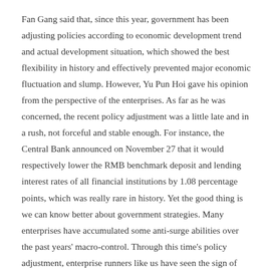Fan Gang said that, since this year, government has been adjusting policies according to economic development trend and actual development situation, which showed the best flexibility in history and effectively prevented major economic fluctuation and slump. However, Yu Pun Hoi gave his opinion from the perspective of the enterprises. As far as he was concerned, the recent policy adjustment was a little late and in a rush, not forceful and stable enough. For instance, the Central Bank announced on November 27 that it would respectively lower the RMB benchmark deposit and lending interest rates of all financial institutions by 1.08 percentage points, which was really rare in history. Yet the good thing is we can know better about government strategies. Many enterprises have accumulated some anti-surge abilities over the past years' macro-control. Through this time's policy adjustment, enterprise runners like us have seen the sign of economic recovery.
How has the international financial crisis influenced Chinese economy